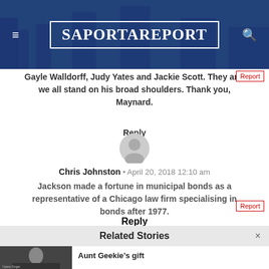[Figure (screenshot): SaportaReport website header with logo, hamburger menu icon, and search icon on a dark blue background]
Gayle Walldorff, Judy Yates and Jackie Scott. They and we all stand on his broad shoulders. Thank you, Maynard.
Reply
[Figure (photo): Gray default user avatar circle icon]
Chris Johnston • April 20, 2018 12:10 am
Jackson made a fortune in municipal bonds as a representative of a Chicago law firm specialising in bonds after 1977.
Reply
Related Stories
Aunt Geekie’s gift